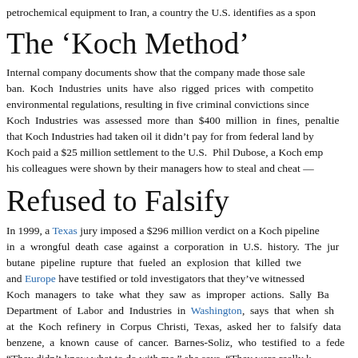petrochemical equipment to Iran, a country the U.S. identifies as a spon
The ‘Koch Method’
Internal company documents show that the company made those sale ban. Koch Industries units have also rigged prices with competito environmental regulations, resulting in five criminal convictions since Koch Industries was assessed more than $400 million in fines, penaltie that Koch Industries had taken oil it didn’t pay for from federal land by Koch paid a $25 million settlement to the U.S. Phil Dubose, a Koch emp his colleagues were shown by their managers how to steal and cheat —
Refused to Falsify
In 1999, a Texas jury imposed a $296 million verdict on a Koch pipeline in a wrongful death case against a corporation in U.S. history. The jur butane pipeline rupture that fueled an explosion that killed twe and Europe have testified or told investigators that they’ve witnessed Koch managers to take what they saw as improper actions. Sally Ba Department of Labor and Industries in Washington, says that when sh at the Koch refinery in Corpus Christi, Texas, asked her to falsify data benzene, a known cause of cancer. Barnes-Soliz, who testified to a fede “They didn’t know what to do with me,” she says. “They were really k pleaded guilty in 2001 to a federal felony charge of lying to regulators ar